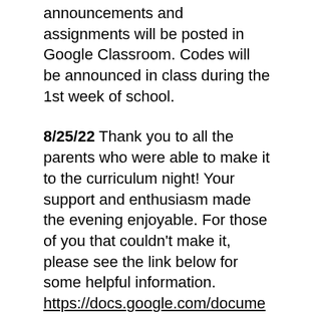announcements and assignments will be posted in Google Classroom. Codes will be announced in class during the 1st week of school.
8/25/22 Thank you to all the parents who were able to make it to the curriculum night! Your support and enthusiasm made the evening enjoyable. For those of you that couldn't make it, please see the link below for some helpful information.
https://docs.google.com/document/d/1_aQBSzHR0...usp=sharing
Weekly Schedule